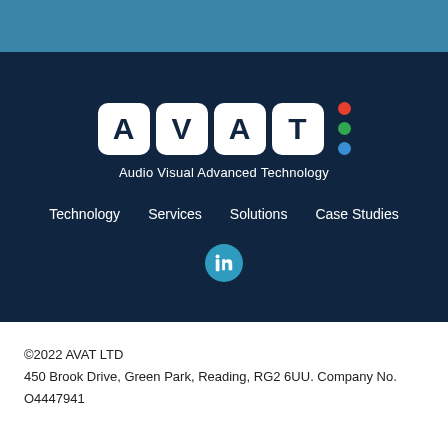[Figure (logo): AVAT logo with four white rounded square tiles spelling A V A T, with red, green, and blue dots to the right, and tagline 'Audio Visual Advanced Technology' below]
Technology   Services   Solutions   Case Studies
[Figure (logo): LinkedIn circular icon in teal/blue]
©2022 AVAT LTD
450 Brook Drive, Green Park, Reading, RG2 6UU. Company No. O4447941